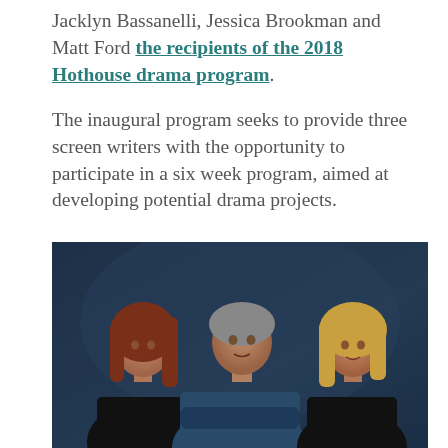Jacklyn Bassanelli, Jessica Brookman and Matt Ford the recipients of the 2018 Hothouse drama program.
The inaugural program seeks to provide three screen writers with the opportunity to participate in a six week program, aimed at developing potential drama projects.
[Figure (photo): Three people posing together against a dark blue background. A woman with long red hair on the left wearing black, a man with grey hair in the center wearing a denim jacket with arms crossed, and a woman with blonde hair on the right wearing black.]